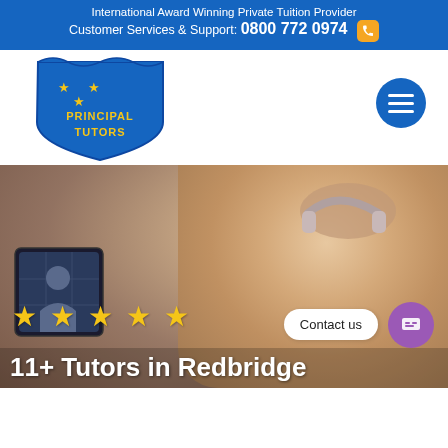International Award Winning Private Tuition Provider
Customer Services & Support: 0800 772 0974
[Figure (logo): Principal Tutors shield logo in blue and gold with stars and text PRINCIPAL TUTORS]
[Figure (photo): Young girl with headphones smiling, sitting at a laptop for online tutoring, with star ratings and Contact us button overlay]
11+ Tutors in Redbridge